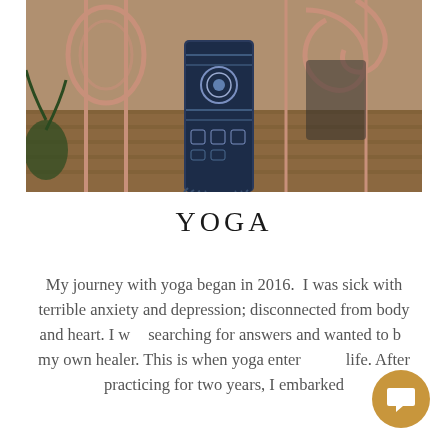[Figure (photo): A person wearing colorful patterned yoga/bohemian pants standing near a rustic pink/rose-gold decorative metal gate or fence structure on a wooden deck or platform, with natural outdoor background.]
YOGA
My journey with yoga began in 2016.  I was sick with terrible anxiety and depression; disconnected from body and heart. I was searching for answers and wanted to be my own healer. This is when yoga entered my life. After practicing for two years, I embarked